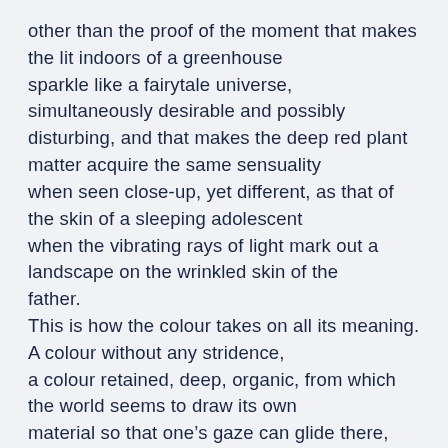other than the proof of the moment that makes the lit indoors of a greenhouse sparkle like a fairytale universe, simultaneously desirable and possibly disturbing, and that makes the deep red plant matter acquire the same sensuality when seen close-up, yet different, as that of the skin of a sleeping adolescent when the vibrating rays of light mark out a landscape on the wrinkled skin of the father. This is how the colour takes on all its meaning. A colour without any stridence, a colour retained, deep, organic, from which the world seems to draw its own material so that one's gaze can glide there, curl up there, even if it encounters irritation, passing whilst something sort of falls